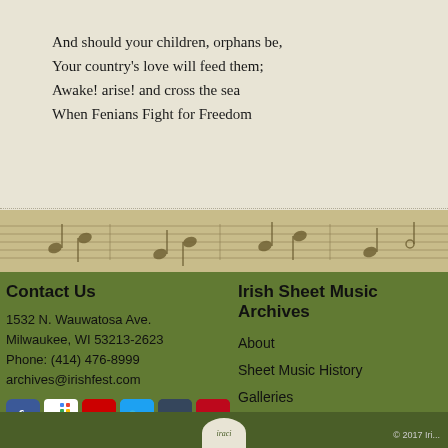And should your children, orphans be,
Your country's love will feed them;
Awake! arise! and cross the sea
When Fenians Fight for Freedom
[Figure (illustration): Decorative band showing sheet music staff lines with musical notes, rendered in tan/gold tones]
Contact Us
1532 N. Wauwatosa Ave.
Milwaukee, WI 53213-2623
Phone: (414) 476-8999
archives@irishfest.com
[Figure (infographic): Row of social media icons: Facebook, Google+, YouTube, Twitter, Tumblr, Pinterest]
Irish Sheet Music Archives
About
Sheet Music History
Galleries
Browse Collection
© 2017 Iri...